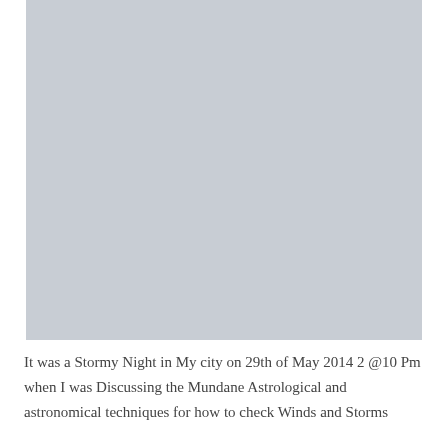[Figure (photo): Large gray placeholder image occupying the upper portion of the page]
It was a Stormy Night in My city on 29th of May 2014 2 @10 Pm when I was Discussing the Mundane Astrological and astronomical techniques for how to check Winds and Storms